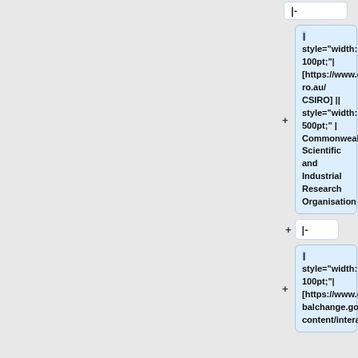|- (collapsed row)
| style="width: 100pt;"| [https://www.csiro.au/ CSIRO] || style="width: 500pt;" | Commonwealth Scientific and Industrial Research Organisation
|- (collapsed row)
| style="width: 100pt;"| [https://www.globalchange.gov/content/interag